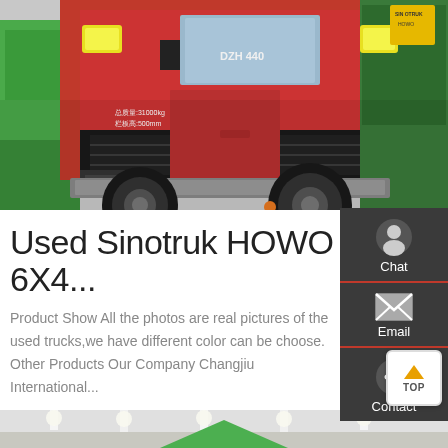[Figure (photo): Red Sinotruk HOWO heavy truck cab and chassis, with green trucks visible on the sides, photographed from a low angle showing the front grille, cab, and large tires]
Used Sinotruk HOWO 6X4...
Product Show All the photos are real pictures of the used trucks,we have different color can be choose. Other Products Our Company Changjiu International...
[Figure (infographic): Sidebar with Chat, Email, and Contact icons on dark background]
Get a Quote
[Figure (photo): Bottom strip showing interior of a showroom or exhibition hall with green elements visible]